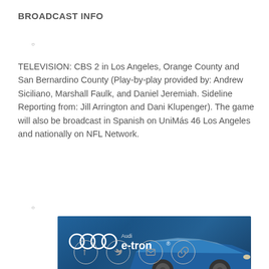BROADCAST INFO
TELEVISION: CBS 2 in Los Angeles, Orange County and San Bernardino County (Play-by-play provided by: Andrew Siciliano, Marshall Faulk, and Daniel Jeremiah. Sideline Reporting from: Jill Arrington and Dani Klupenger). The game will also be broadcast in Spanish on UniMás 46 Los Angeles and nationally on NFL Network.
[Figure (photo): Audi e-tron advertisement showing a blue Audi e-tron SUV with the Audi four-rings logo and 'e-tron' text on a dark background]
[Figure (other): Social media sharing icons: Facebook, Twitter, Email, and Link]